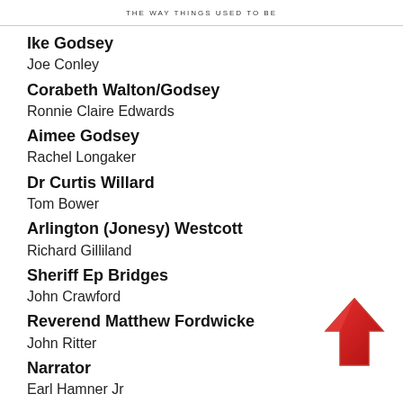THE WAY THINGS USED TO BE
Ike Godsey / Joe Conley
Corabeth Walton/Godsey / Ronnie Claire Edwards
Aimee Godsey / Rachel Longaker
Dr Curtis Willard / Tom Bower
Arlington (Jonesy) Westcott / Richard Gilliland
Sheriff Ep Bridges / John Crawford
Reverend Matthew Fordwicke / John Ritter
Narrator / Earl Hamner Jr
[Figure (illustration): Red upward-pointing arrow icon]